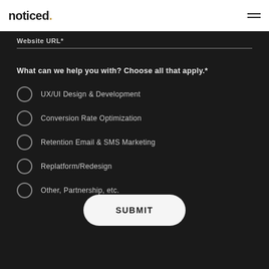noticed.
Website URL*
What can we help you with? Choose all that apply.*
UX/UI Design & Development
Conversion Rate Optimization
Retention Email & SMS Marketing
Replatform/Redesign
Other, Partnership, etc.
SUBMIT